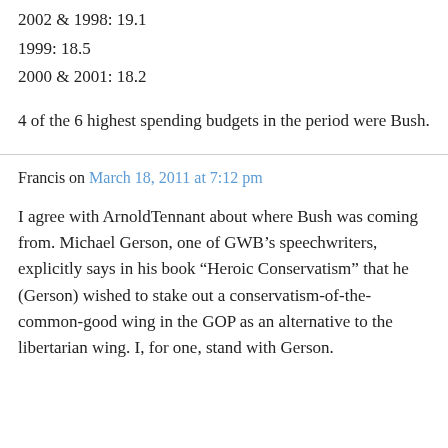2002 & 1998: 19.1
1999: 18.5
2000 & 2001: 18.2
4 of the 6 highest spending budgets in the period were Bush.
Francis on March 18, 2011 at 7:12 pm
I agree with ArnoldTennant about where Bush was coming from. Michael Gerson, one of GWB's speechwriters, explicitly says in his book “Heroic Conservatism” that he (Gerson) wished to stake out a conservatism-of-the-common-good wing in the GOP as an alternative to the libertarian wing. I, for one, stand with Gerson.